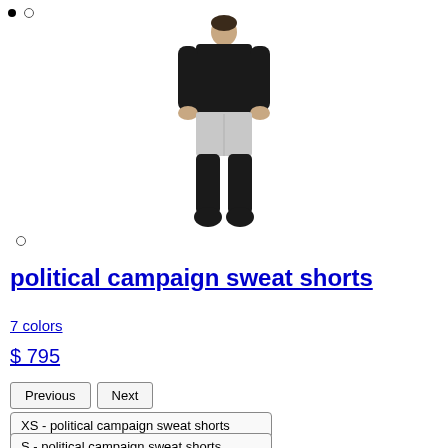[Figure (photo): Back view of a male model wearing a black long-sleeve turtleneck top and light grey sweat shorts with black tights and black lace-up boots]
political campaign sweat shorts
7 colors
$ 795
Previous
Next
XS - political campaign sweat shorts
S - political campaign sweat shorts